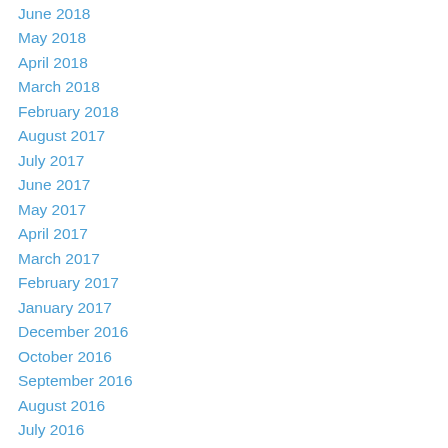June 2018
May 2018
April 2018
March 2018
February 2018
August 2017
July 2017
June 2017
May 2017
April 2017
March 2017
February 2017
January 2017
December 2016
October 2016
September 2016
August 2016
July 2016
June 2016
May 2016